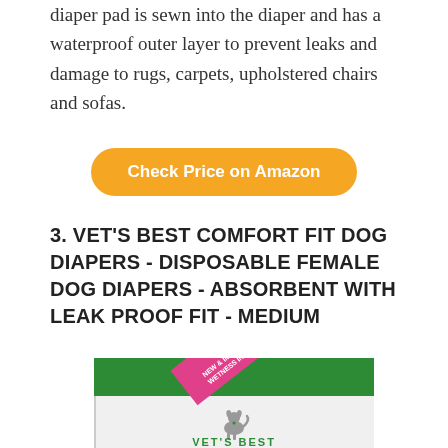diaper pad is sewn into the diaper and has a waterproof outer layer to prevent leaks and damage to rugs, carpets, upholstered chairs and sofas.
Check Price on Amazon
3. VET'S BEST COMFORT FIT DOG DIAPERS - DISPOSABLE FEMALE DOG DIAPERS - ABSORBENT WITH LEAK PROOF FIT - MEDIUM
[Figure (photo): Product image of Vet's Best Comfort Fit Dog Diapers package, green and white with a pink diagonal 'NEW & IMPROVED / WETNESS INDICATOR' banner and a dog silhouette illustration]